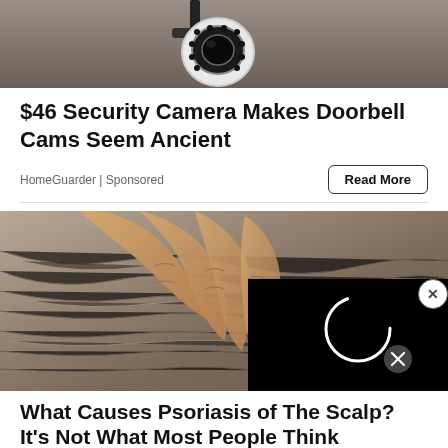[Figure (photo): Security camera mounted on a wall, white circular camera body with LED ring, dark background]
$46 Security Camera Makes Doorbell Cams Seem Ancient
HomeGuarder | Sponsored
Read More
[Figure (photo): Close-up of hands parting gray hair on a scalp, with a black video loading overlay in the bottom-right corner showing a loading spinner and close button]
What Causes Psoriasis of The Scalp? It's Not What Most People Think